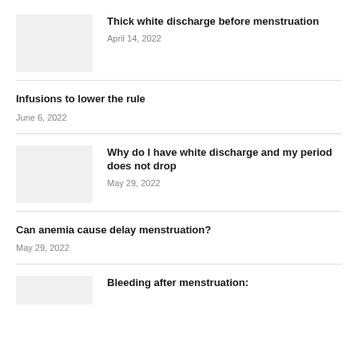[Figure (photo): Placeholder thumbnail image for article about thick white discharge]
Thick white discharge before menstruation
April 14, 2022
Infusions to lower the rule
June 6, 2022
[Figure (photo): Placeholder thumbnail image for article about white discharge]
Why do I have white discharge and my period does not drop
May 29, 2022
Can anemia cause delay menstruation?
May 29, 2022
[Figure (photo): Partial placeholder thumbnail for article about bleeding after menstruation]
Bleeding after menstruation: